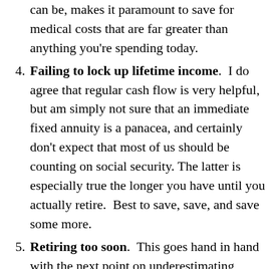can be, makes it paramount to save for medical costs that are far greater than anything you’re spending today.
Failing to lock up lifetime income. I do agree that regular cash flow is very helpful, but am simply not sure that an immediate fixed annuity is a panacea, and certainly don’t expect that most of us should be counting on social security. The latter is especially true the longer you have until you actually retire. Best to save, save, and save some more.
Retiring too soon. This goes hand in hand with the next point on underestimating longevity. Aside from social security income or pension (if you’re lucky enough to have one) concerns, when one drops out of the workforce when older, it can be tougher to get